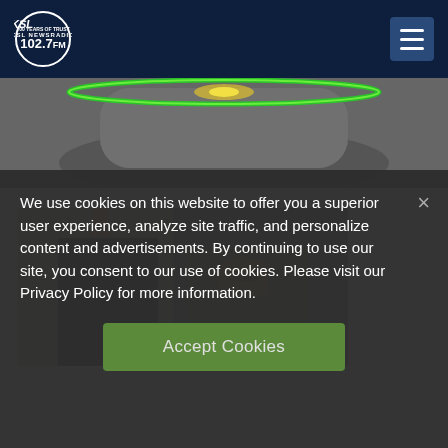KSL NewsRadio 102.7 FM
[Figure (photo): Amazon Echo smart speaker device with green ring light glowing on top, dark background]
[Figure (photo): Two people, one in a suit with orange tie, one in a law enforcement uniform with badge/patch on sleeve]
We use cookies on this website to offer you a superior user experience, analyze site traffic, and personalize content and advertisements. By continuing to use our site, you consent to our use of cookies. Please visit our Privacy Policy for more information.
Accept Cookies